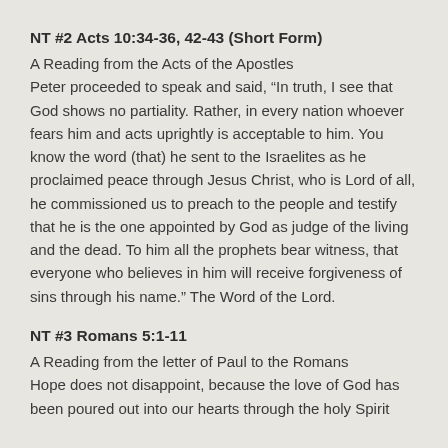NT #2 Acts 10:34-36, 42-43 (Short Form)
A Reading from the Acts of the Apostles
Peter proceeded to speak and said, “In truth, I see that God shows no partiality. Rather, in every nation whoever fears him and acts uprightly is acceptable to him. You know the word (that) he sent to the Israelites as he proclaimed peace through Jesus Christ, who is Lord of all, he commissioned us to preach to the people and testify that he is the one appointed by God as judge of the living and the dead. To him all the prophets bear witness, that everyone who believes in him will receive forgiveness of sins through his name.” The Word of the Lord.
NT #3 Romans 5:1-11
A Reading from the letter of Paul to the Romans
Hope does not disappoint, because the love of God has been poured out into our hearts through the holy Spirit